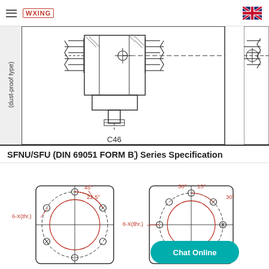WXING (logo) | UK flag
[Figure (engineering-diagram): Ball screw nut cross-section diagram labeled C46, dust-proof type, showing threaded nut with flange in side view]
C46
SFNU/SFU (DIN 69051 FORM B) Series Specification
[Figure (engineering-diagram): Two end-view diagrams of ball screw flanged nuts. Left diagram shows 6-X(thr.) holes at 22.5° and 45° spacing. Right diagram shows 8-X(thr.) holes at 15°, 30° spacing. Both with centerlines and bolt circle annotations in red.]